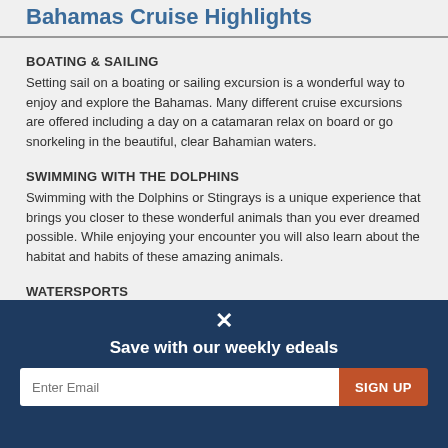Bahamas Cruise Highlights
BOATING & SAILING
Setting sail on a boating or sailing excursion is a wonderful way to enjoy and explore the Bahamas. Many different cruise excursions are offered including a day on a catamaran relax on board or go snorkeling in the beautiful, clear Bahamian waters.
SWIMMING WITH THE DOLPHINS
Swimming with the Dolphins or Stingrays is a unique experience that brings you closer to these wonderful animals than you ever dreamed possible. While enjoying your encounter you will also learn about the habitat and habits of these amazing animals.
WATERSPORTS
The tropical waters of the Bahamas welcome the active traveler with a variety of activities to enjoy. Jet skiing, parasailing, kayaking and kite-
✕
Save with our weekly edeals
Enter Email
SIGN UP